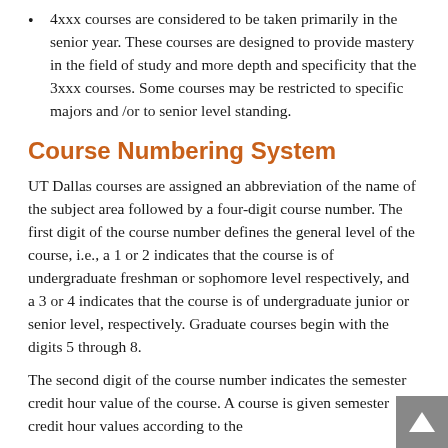4xxx courses are considered to be taken primarily in the senior year. These courses are designed to provide mastery in the field of study and more depth and specificity that the 3xxx courses. Some courses may be restricted to specific majors and /or to senior level standing.
Course Numbering System
UT Dallas courses are assigned an abbreviation of the name of the subject area followed by a four-digit course number. The first digit of the course number defines the general level of the course, i.e., a 1 or 2 indicates that the course is of undergraduate freshman or sophomore level respectively, and a 3 or 4 indicates that the course is of undergraduate junior or senior level, respectively. Graduate courses begin with the digits 5 through 8.
The second digit of the course number indicates the semester credit hour value of the course. A course is given semester credit hour values according to the